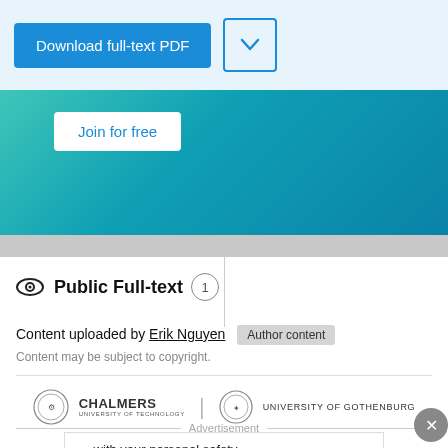[Figure (screenshot): Download full-text PDF button (blue) and a dropdown chevron button]
[Figure (screenshot): Teal/cyan gradient banner with 'Join for free' white button]
Public Full-text 1
Content uploaded by Erik Nguyen  Author content
Content may be subject to copyright.
[Figure (logo): Chalmers University of Technology and University of Gothenburg logos side by side]
Advertisement
[Figure (screenshot): Advertisement banner: '... with your personal safety in mind  Watch video ›' with Thermo Fisher Scientific logo]